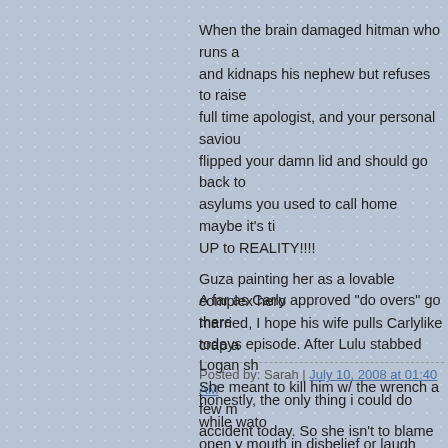When the brain damaged hitman who runs a and kidnaps his nephew but refuses to raise full time apologist, and your personal saviou flipped your damn lid and should go back to asylums you used to call home maybe it's ti UP to REALITY!!!!
Guza painting her as a lovable complex hero married, I hope his wife pulls Carlylike crap a
Posted by: Sarah | July 10, 2008 at 01:40 AM
A far as Carly approved "do overs" go there todays episode. After Lulu stabbed Logan sh She meant to kill him w/ the wrench a few m accident today. So she isn't to blame or be f
Posted by: Sarah | July 10, 2008 at 01:43 AM
honestly, the only thing i could do while wato open y mouth in disbelief or laugh uncontroll know, i'm tryin to think back to when the othe